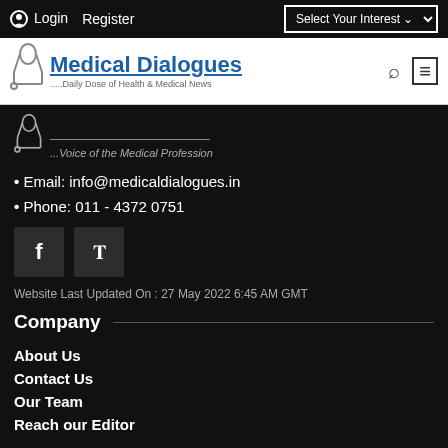Login  Register  |  Select Your Interest
[Figure (logo): Medical Dialogues logo with stethoscope - Daily Dose of Health & Medical News - Voice of the Medical Profession]
• Email: info@medicaldialogues.in
• Phone: 011 - 4372 0751
Website Last Updated On : 27 May 2022 6:45 AM GMT
Company
About Us
Contact Us
Our Team
Reach our Editor